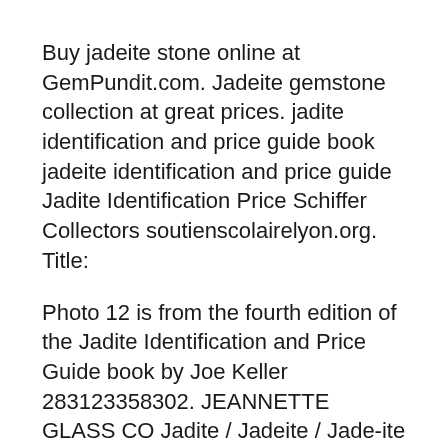Buy jadeite stone online at GemPundit.com. Jadeite gemstone collection at great prices. jadite identification and price guide book jadeite identification and price guide Jadite Identification Price Schiffer Collectors soutienscolairelyon.org. Title:
Photo 12 is from the fourth edition of the Jadite Identification and Price Guide book by Joe Keller 283123358302. JEANNETTE GLASS CO Jadite / Jadeite / Jade-ite MCKEE GLASS COMPANY Jadite / Jadeite / Jade-ite Refrigerator Photo 12 is from the third edition of the Jadite Identification and Price Guide book by Joe Keller